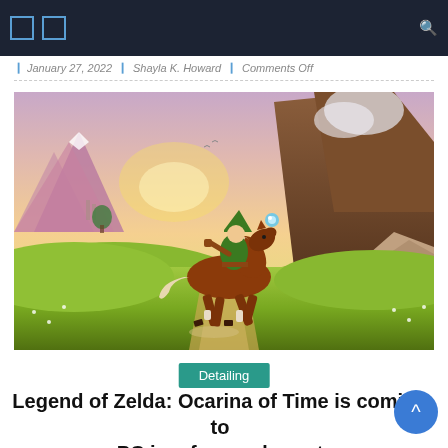Navigation bar with icons
January 27, 2022 | Shayla K. Howard | Comments Off
[Figure (illustration): Legend of Zelda Ocarina of Time artwork showing Link riding Epona the horse across a green Hyrule field with mountains in the background]
Detailing
Legend of Zelda: Ocarina of Time is coming to PC in a fan-made port